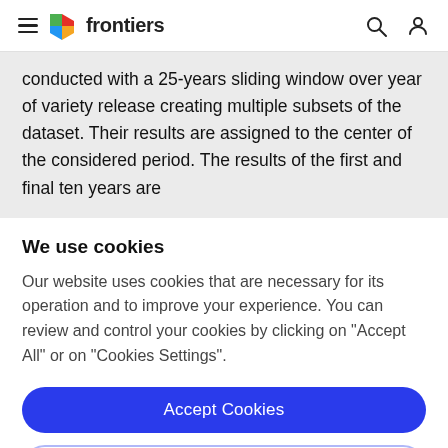frontiers
conducted with a 25-years sliding window over year of variety release creating multiple subsets of the dataset. Their results are assigned to the center of the considered period. The results of the first and final ten years are
We use cookies
Our website uses cookies that are necessary for its operation and to improve your experience. You can review and control your cookies by clicking on "Accept All" or on "Cookies Settings".
Accept Cookies
Cookies Settings